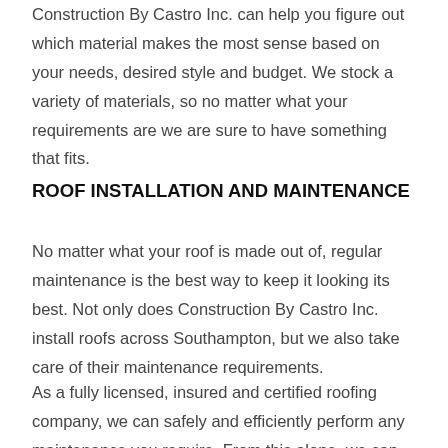Construction By Castro Inc. can help you figure out which material makes the most sense based on your needs, desired style and budget. We stock a variety of materials, so no matter what your requirements are we are sure to have something that fits.
ROOF INSTALLATION AND MAINTENANCE
No matter what your roof is made out of, regular maintenance is the best way to keep it looking its best. Not only does Construction By Castro Inc. install roofs across Southampton, but we also take care of their maintenance requirements.
As a fully licensed, insured and certified roofing company, we can safely and efficiently perform any maintenance you require. From this alone, we can top to a...